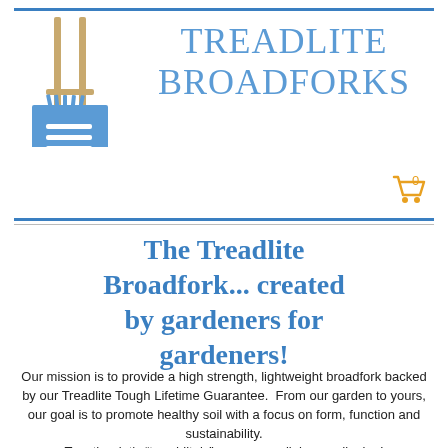[Figure (logo): Treadlite Broadforks logo: a broadfork garden tool image above a blue square with hamburger menu icon, next to the brand name text and a shopping cart icon]
TREADLITE BROADFORKS
The Treadlite Broadfork... created by gardeners for gardeners!
Our mission is to provide a high strength, lightweight broadfork backed by our Treadlite Tough Lifetime Guarantee.  From our garden to yours, our goal is to promote healthy soil with a focus on form, function and sustainability.
Together let's “tread-litely” upon our soil, happy digging!